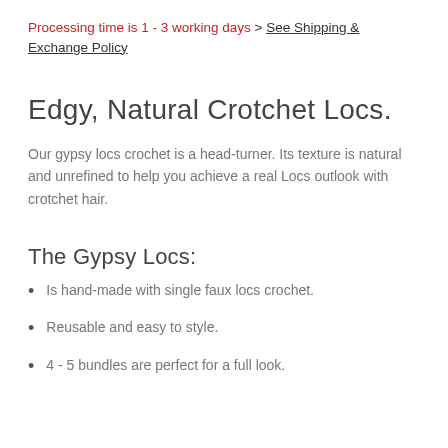Processing time is 1 - 3 working days > See Shipping & Exchange Policy
Edgy, Natural Crotchet Locs.
Our gypsy locs crochet is a head-turner. Its texture is natural and unrefined to help you achieve a real Locs outlook with crotchet hair.
The Gypsy Locs:
Is hand-made with single faux locs crochet.
Reusable and easy to style.
4 - 5 bundles are perfect for a full look.